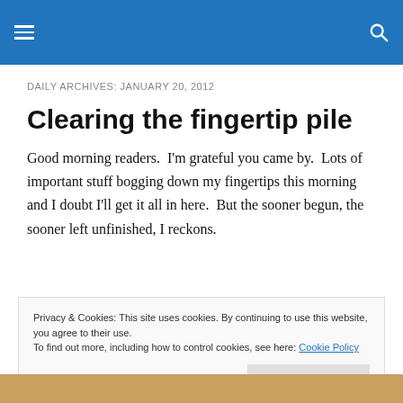DAILY ARCHIVES: JANUARY 20, 2012
Clearing the fingertip pile
Good morning readers.  I'm grateful you came by.  Lots of important stuff bogging down my fingertips this morning and I doubt I'll get it all in here.  But the sooner begun, the sooner left unfinished, I reckons.
Privacy & Cookies: This site uses cookies. By continuing to use this website, you agree to their use.
To find out more, including how to control cookies, see here: Cookie Policy
[Figure (photo): Bottom image strip showing a warm amber/gold colored photo, partially visible]